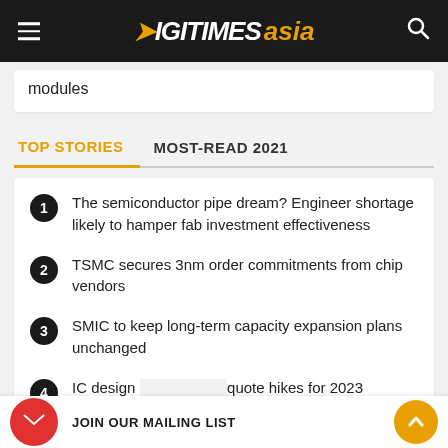DIGITIMES asia
modules
TOP STORIES  MOST-READ 2021
The semiconductor pipe dream? Engineer shortage likely to hamper fab investment effectiveness
TSMC secures 3nm order commitments from chip vendors
SMIC to keep long-term capacity expansion plans unchanged
IC design  quote hikes for 2023
JOIN OUR MAILING LIST